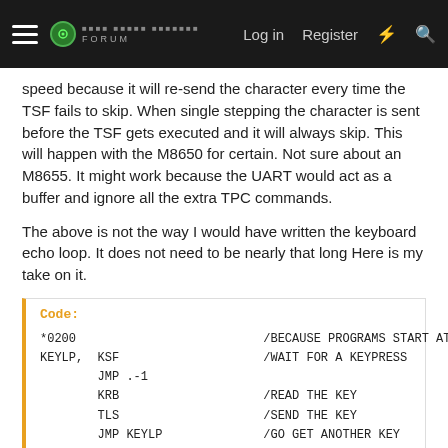Log in  Register
speed because it will re-send the character every time the TSF fails to skip. When single stepping the character is sent before the TSF gets executed and it will always skip. This will happen with the M8650 for certain. Not sure about an M8655. It might work because the UART would act as a buffer and ignore all the extra TPC commands.

The above is not the way I would have written the keyboard echo loop. It does not need to be nearly that long Here is my take on it.
Code:
*0200                          /BECAUSE PROGRAMS START AT 2
KEYLP,  KSF                    /WAIT FOR A KEYPRESS
        JMP .-1
        KRB                    /READ THE KEY
        TLS                    /SEND THE KEY
        JMP KEYLP              /GO GET ANOTHER KEY
$